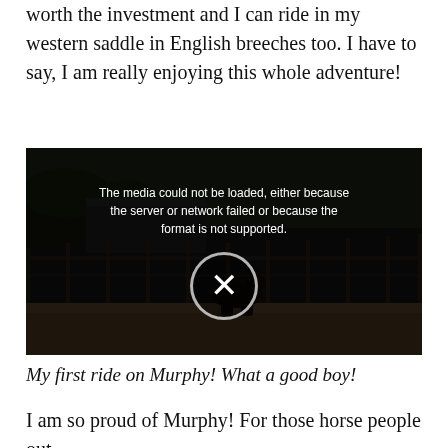worth the investment and I can ride in my western saddle in English breeches too. I have to say, I am really enjoying this whole adventure!
[Figure (screenshot): Video player showing a dark outdoor equestrian scene with a horse in a round pen. The video failed to load and shows an error message: 'The media could not be loaded, either because the server or network failed or because the format is not supported.' with an X button overlay.]
My first ride on Murphy! What a good boy!
I am so proud of Murphy! For those horse people out